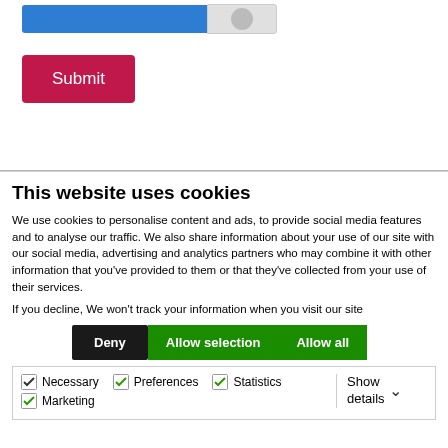[Figure (screenshot): Blue input bar with captcha icon on a white background, top of a form]
Submit
This website uses cookies
We use cookies to personalise content and ads, to provide social media features and to analyse our traffic. We also share information about your use of our site with our social media, advertising and analytics partners who may combine it with other information that you've provided to them or that they've collected from your use of their services.
If you decline, We won't track your information when you visit our site
Deny
Allow selection
Allow all
Necessary  Preferences  Statistics  Marketing  Show details